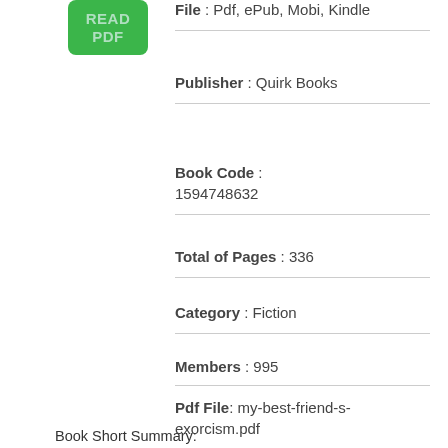[Figure (other): Green button with text READ PDF]
File : Pdf, ePub, Mobi, Kindle
Publisher : Quirk Books
Book Code : 1594748632
Total of Pages : 336
Category : Fiction
Members : 995
Pdf File: my-best-friend-s-exorcism.pdf
Book Short Summary: